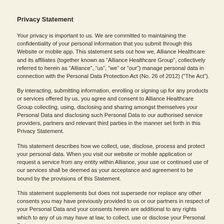Privacy Statement
Your privacy is important to us. We are committed to maintaining the confidentiality of your personal information that you submit through this Website or mobile app. This statement sets out how we, Alliance Healthcare and its affiliates (together known as “Alliance Healthcare Group”, collectively referred to herein as “Alliance”, “us”, “we” or “our”) manage personal data in connection with the Personal Data Protection Act (No. 26 of 2012) (“The Act”).
By interacting, submitting information, enrolling or signing up for any products or services offered by us, you agree and consent to Alliance Healthcare Group collecting, using, disclosing and sharing amongst themselves your Personal Data and disclosing such Personal Data to our authorised service providers, partners and relevant third parties in the manner set forth in this Privacy Statement.
This statement describes how we collect, use, disclose, process and protect your personal data. When you visit our website or mobile application or request a service from any entity within Alliance, your use or continued use of our services shall be deemed as your acceptance and agreement to be bound by the provisions of this Statement.
This statement supplements but does not supersede nor replace any other consents you may have previously provided to us or our partners in respect of your Personal Data and your consents herein are additional to any rights which to any of us may have at law, to collect, use or disclose your Personal Data.
For the purpose of the Act, we are a data intermediary when we process